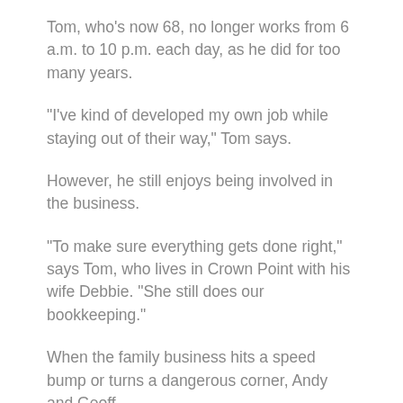Tom, who's now 68, no longer works from 6 a.m. to 10 p.m. each day, as he did for too many years.
“I've kind of developed my own job while staying out of their way,” Tom says.
However, he still enjoys being involved in the business.
“To make sure everything gets done right,” says Tom, who lives in Crown Point with his wife Debbie. “She still does our bookkeeping.”
When the family business hits a speed bump or turns a dangerous corner, Andy and Geoff